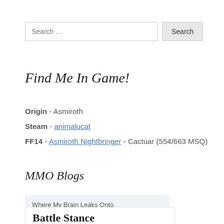Search …
Find Me In Game!
Origin - Asmiroth
Steam - animalucat
FF14 - Asmiroth Nightbringer - Cactuar (554/663 MSQ)
MMO Blogs
Where My Brain Leaks Onto
Battle Stance
Lasts until cancelled.